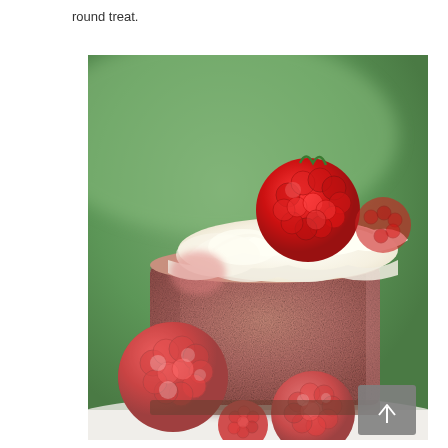round treat.
[Figure (photo): Close-up photo of a small round raspberry mousse cake with whipped cream piped on top and a fresh raspberry, with additional raspberries dusted with powdered sugar in the foreground, on a white plate with a green background.]